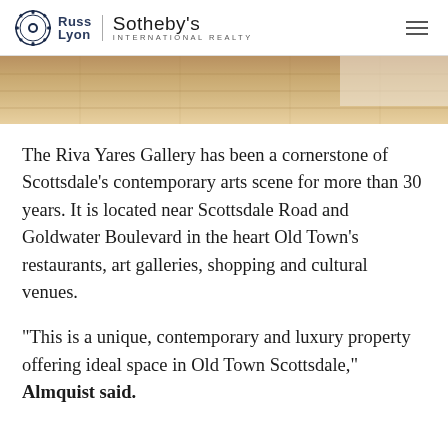Russ Lyon | Sotheby's International Realty
[Figure (photo): Interior room photo showing light wood flooring and white walls, cropped to a horizontal strip]
The Riva Yares Gallery has been a cornerstone of Scottsdale’s contemporary arts scene for more than 30 years. It is located near Scottsdale Road and Goldwater Boulevard in the heart Old Town’s restaurants, art galleries, shopping and cultural venues.
“This is a unique, contemporary and luxury property offering ideal space in Old Town Scottsdale,” Almquist said.